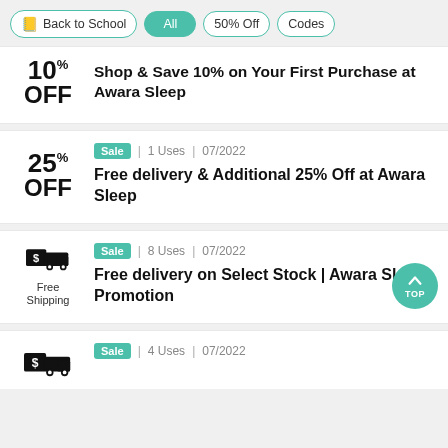Back to School
All
50% Off
Codes
10% OFF  Shop & Save 10% on Your First Purchase at Awara Sleep
Sale  1 Uses  07/2022  25% OFF  Free delivery & Additional 25% Off at Awara Sleep
Sale  8 Uses  07/2022  Free delivery on Select Stock | Awara Sleep Promotion
Sale  4 Uses  07/2022